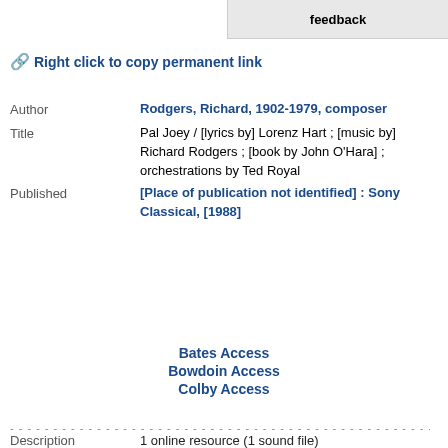feedback
🔗 Right click to copy permanent link
| Author | Rodgers, Richard, 1902-1979, composer |
| Title | Pal Joey / [lyrics by] Lorenz Hart ; [music by] Richard Rodgers ; [book by John O'Hara] ; orchestrations by Ted Royal |
| Published | [Place of publication not identified] : Sony Classical, [1988] |
Bates Access
Bowdoin Access
Colby Access
| Description | 1 online resource (1 sound file) |
| Note | Musical
Contains previously released material |